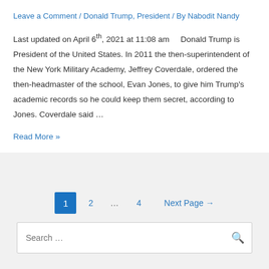Leave a Comment / Donald Trump, President / By Nabodit Nandy
Last updated on April 6th, 2021 at 11:08 am    Donald Trump is President of the United States. In 2011 the then-superintendent of the New York Military Academy, Jeffrey Coverdale, ordered the then-headmaster of the school, Evan Jones, to give him Trump's academic records so he could keep them secret, according to Jones. Coverdale said …
Read More »
1 2 … 4 Next Page →
Search …